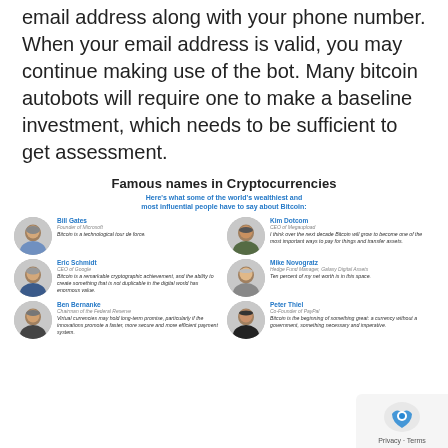email address along with your phone number. When your email address is valid, you may continue making use of the bot. Many bitcoin autobots will require one to make a baseline investment, which needs to be sufficient to get assessment.
[Figure (infographic): Infographic titled 'Famous names in Cryptocurrencies' with subtitle 'Here's what some of the world's wealthiest and most influential people have to say about Bitcoin:' featuring six celebrity quote cards with circular portraits: Bill Gates (Founder of Microsoft), Kim Dotcom (CEO of Megaupload), Eric Schmidt (CEO of Google), Mike Novogratz (Hedge Fund Manager, Galaxy Digital Assets), Ben Bernanke (Chairman of the Federal Reserve), Peter Thiel (Co-Founder of PayPal)]
Privacy · Terms